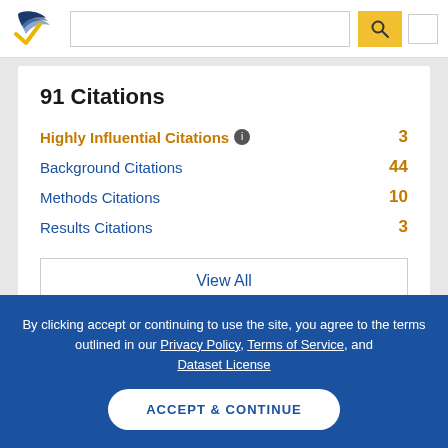Semantic Scholar header with logo, search box, and search button
91 Citations
Highly Influential Citations  3
Background Citations  44
Methods Citations  10
Results Citations  3
View All
By clicking accept or continuing to use the site, you agree to the terms outlined in our Privacy Policy, Terms of Service, and Dataset License
ACCEPT & CONTINUE